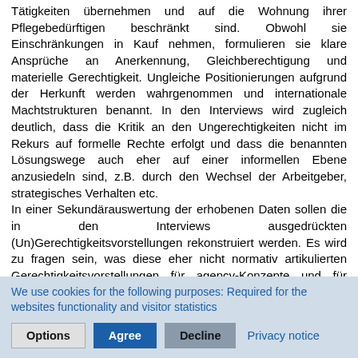Tätigkeiten übernehmen und auf die Wohnung ihrer Pflegebedürftigen beschränkt sind. Obwohl sie Einschränkungen in Kauf nehmen, formulieren sie klare Ansprüche an Anerkennung, Gleichberechtigung und materielle Gerechtigkeit. Ungleiche Positionierungen aufgrund der Herkunft werden wahrgenommen und internationale Machtstrukturen benannt. In den Interviews wird zugleich deutlich, dass die Kritik an den Ungerechtigkeiten nicht im Rekurs auf formelle Rechte erfolgt und dass die benannten Lösungswege auch eher auf einer informellen Ebene anzusiedeln sind, z.B. durch den Wechsel der Arbeitgeber, strategisches Verhalten etc. In einer Sekundärauswertung der erhobenen Daten sollen die in den Interviews ausgedrückten (Un)Gerechtigkeitsvorstellungen rekonstruiert werden. Es wird zu fragen sein, was diese eher nicht normativ artikulierten Gerechtigkeitsvorstellungen für agency-Konzepte und für Unterstützungsstrukturen bedeuten, denn gerade Letztere stützen sich – wie auch eine menschenrechtsorientierte Soziale Arbeit – auf normative Ansprüche oder universal artikulierte Gerechtigkeitsforderungen. Wie kann es gelingen, auf Ungerechtigkeit reagierende Unterstützung zu denken, die der Eigenlogik der Betroffenen folgt und nicht nur von normierten Ansprüchen ausgeht? Wie ist
We use cookies for the following purposes: Required for the websites functionality and visitor statistics
Options | Agree | Decline | Privacy notice